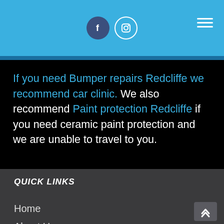Social media icons (Facebook, Instagram) and hamburger menu
If you need Bumper repairs Redcliffe we recommend car clinic. We also recommend Paint protection Redcliffe if you need ceramic paint protection and we are unable to travel to you.
QUICK LINKS
Home
About Us
Packages and Pricing